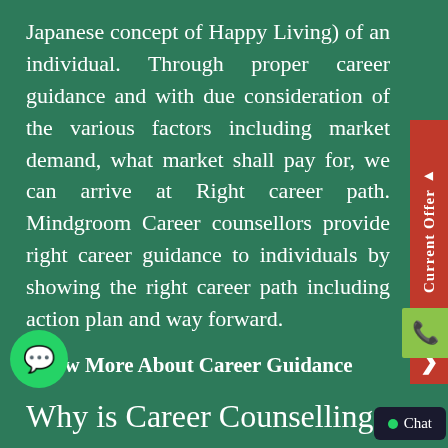Japanese concept of Happy Living) of an individual. Through proper career guidance and with due consideration of the various factors including market demand, what market shall pay for, we can arrive at Right career path. Mindgroom Career counsellors provide right career guidance to individuals by showing the right career path including action plan and way forward.
Know More About Career Guidance
Why is Career Counselling Important?
Career counselling answers 3 most important questions related to an individual's career – (1) What to Do? (2) Why to Do and (3) How to Do? In case you don't choose to go for Career Counselling, it's just like hitting in the dark or hit and trial. Every individual is unique and hence one size fits all approach doesn't work in choosing the right career path. The importance of career counselling also lies